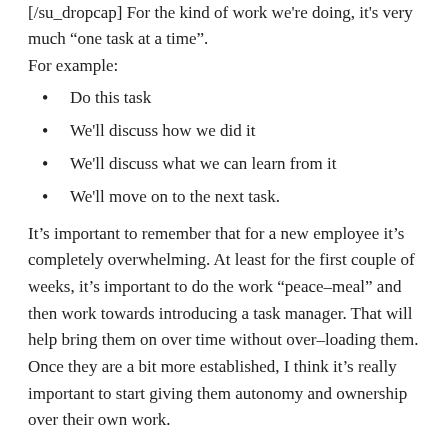[/su_dropcap] For the kind of work we're doing, it's very much “one task at a time”.
For example:
Do this task
We'll discuss how we did it
We'll discuss what we can learn from it
We'll move on to the next task.
It’s important to remember that for a new employee it’s completely overwhelming. At least for the first couple of weeks, it’s important to do the work “peace–meal” and then work towards introducing a task manager. That will help bring them on over time without over–loading them. Once they are a bit more established, I think it’s really important to start giving them autonomy and ownership over their own work.